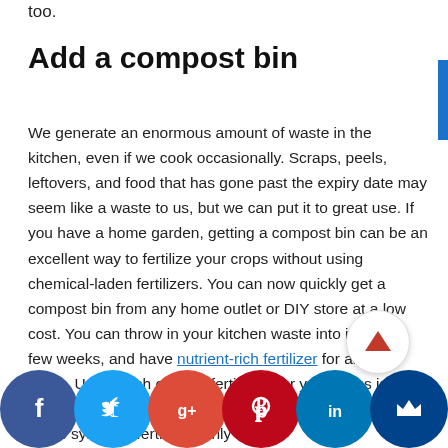too.
Add a compost bin
We generate an enormous amount of waste in the kitchen, even if we cook occasionally. Scraps, peels, leftovers, and food that has gone past the expiry date may seem like a waste to us, but we can put it to great use. If you have a home garden, getting a compost bin can be an excellent way to fertilize your crops without using chemical-laden fertilizers. You can now quickly get a compost bin from any home outlet or DIY store at a low cost. You can throw in your kitchen waste into it, wait a few weeks, and have nutrient-rich fertilizer for all your crops. Using such organic fertilizers for your crops is also an excellent way of nourishing the soil in the long term. While synthetic fertilizers only poison the soil, organic fertilizers replenish the soil its nutrients.
[Figure (infographic): Social media sharing bar with Facebook, Twitter, Google+, Pinterest, LinkedIn, and Mix icons, plus a Likes label and an upward arrow scroll-to-top button.]